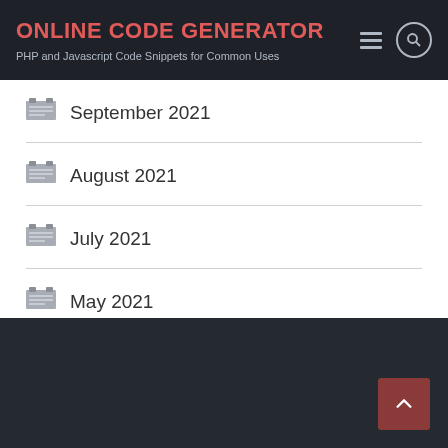ONLINE CODE GENERATOR
PHP and Javascript Code Snippets for Common Uses
September 2021
August 2021
July 2021
May 2021